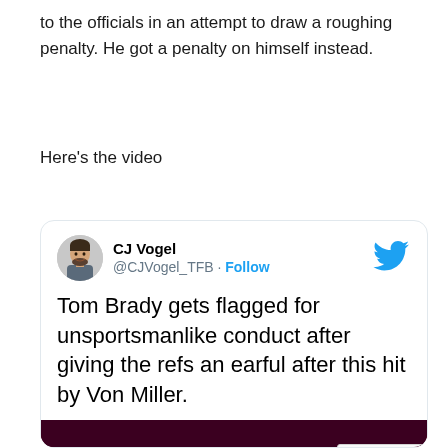to the officials in an attempt to draw a roughing penalty. He got a penalty on himself instead.
Here's the video
[Figure (screenshot): Embedded tweet from @CJVogel_TFB (CJ Vogel) with Twitter Follow button, reading: 'Tom Brady gets flagged for unsportsmanlike conduct after giving the refs an earful after this hit by Von Miller.' Below the tweet text is a video thumbnail showing a football crowd scene with a 'Watch on Twitter' label and a reCAPTCHA badge in the lower right corner.]